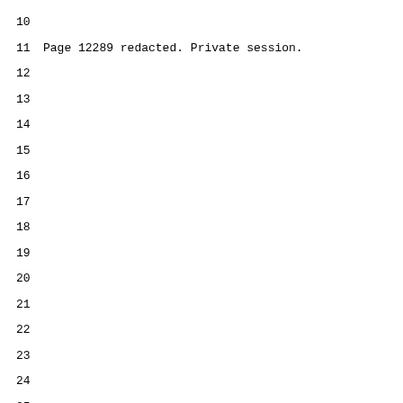10
11 Page 12289 redacted. Private session.
12
13
14
15
16
17
18
19
20
21
22
23
24
25